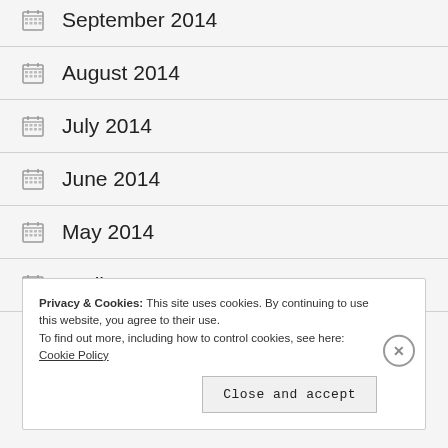September 2014
August 2014
July 2014
June 2014
May 2014
April 2014
Privacy & Cookies: This site uses cookies. By continuing to use this website, you agree to their use.
To find out more, including how to control cookies, see here: Cookie Policy
Close and accept